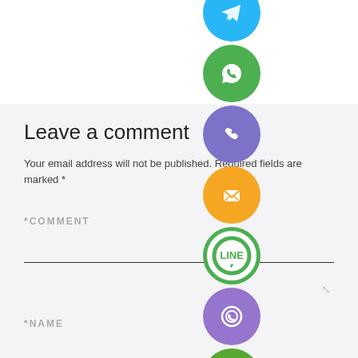[Figure (infographic): Vertical strip of social media / communication app icon buttons: Telegram (blue), WhatsApp (green), Phone/Viber call (purple), Email (orange), LINE (green ring), Viber (purple), Plus/Add (green). Icons are circular and overlaid on the comment form.]
Leave a comment
Your email address will not be published. Required fields are marked *
*COMMENT
*NAME